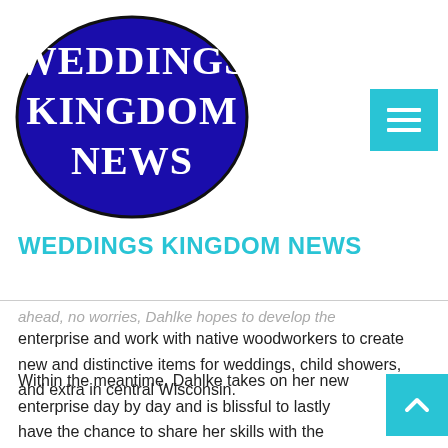[Figure (logo): Weddings Kingdom News oval logo — dark blue oval with white serif text reading WEDDINGS KINGDOM NEWS]
WEDDINGS KINGDOM NEWS
ahead, no worries, Dahlke hopes to develop the enterprise and work with native woodworkers to create new and distinctive items for weddings, child showers, and extra in central Wisconsin.
Within the meantime, Dahlke takes on her new enterprise day by day and is blissful to lastly have the chance to share her skills with the group.